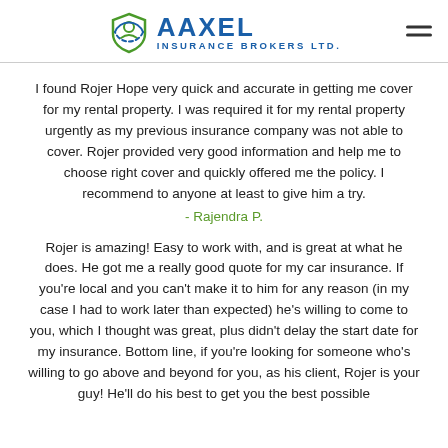AAXEL INSURANCE BROKERS LTD.
I found Rojer Hope very quick and accurate in getting me cover for my rental property. I was required it for my rental property urgently as my previous insurance company was not able to cover. Rojer provided very good information and help me to choose right cover and quickly offered me the policy. I recommend to anyone at least to give him a try.
- Rajendra P.
Rojer is amazing! Easy to work with, and is great at what he does. He got me a really good quote for my car insurance. If you're local and you can't make it to him for any reason (in my case I had to work later than expected) he's willing to come to you, which I thought was great, plus didn't delay the start date for my insurance. Bottom line, if you're looking for someone who's willing to go above and beyond for you, as his client, Rojer is your guy! He'll do his best to get you the best possible